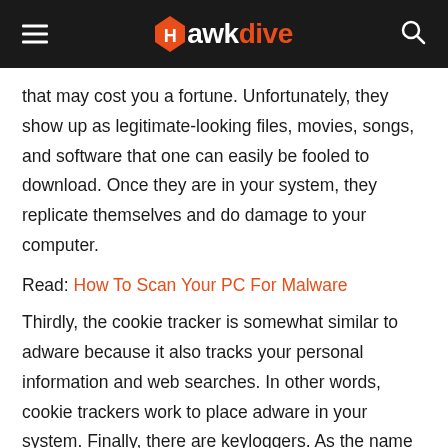Hawkdive
that may cost you a fortune. Unfortunately, they show up as legitimate-looking files, movies, songs, and software that one can easily be fooled to download. Once they are in your system, they replicate themselves and do damage to your computer.
Read: How To Scan Your PC For Malware
Thirdly, the cookie tracker is somewhat similar to adware because it also tracks your personal information and web searches. In other words, cookie trackers work to place adware in your system. Finally, there are keyloggers. As the name suggests, they track the keys you type on your keyboard and gains access to your personal information like username, passwords, bank account credentials, etc.